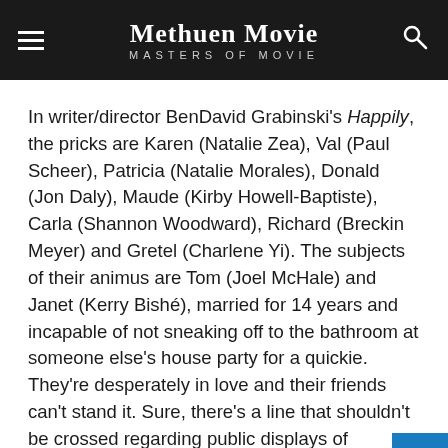Methuen Movie MASTERS OF MOVIE
In writer/director BenDavid Grabinski's Happily, the pricks are Karen (Natalie Zea), Val (Paul Scheer), Patricia (Natalie Morales), Donald (Jon Daly), Maude (Kirby Howell-Baptiste), Carla (Shannon Woodward), Richard (Breckin Meyer) and Gretel (Charlene Yi). The subjects of their animus are Tom (Joel McHale) and Janet (Kerry Bishé), married for 14 years and incapable of not sneaking off to the bathroom at someone else's house party for a quickie. They're desperately in love and their friends can't stand it. Sure, there's a line that shouldn't be crossed regarding public displays of affection, but Tom and Janet have other people...